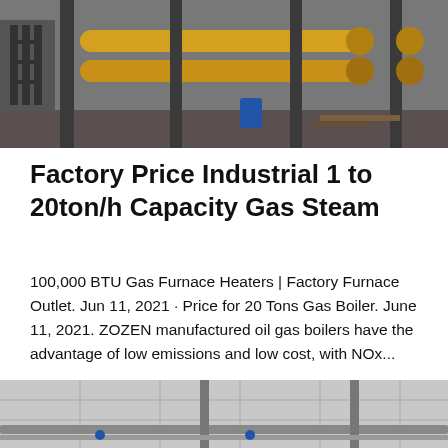[Figure (photo): Industrial boiler or gas steam equipment factory floor with yellow pipes, metal structures, and industrial machinery]
Factory Price Industrial 1 to 20ton/h Capacity Gas Steam
100,000 BTU Gas Furnace Heaters | Factory Furnace Outlet. Jun 11, 2021 · Price for 20 Tons Gas Boiler. June 11, 2021. ZOZEN manufactured oil gas boilers have the advantage of low emissions and low cost, with NOx...
Get Price
[Figure (photo): Industrial facility interior showing pipes and mechanical systems on a ceiling with white panels]